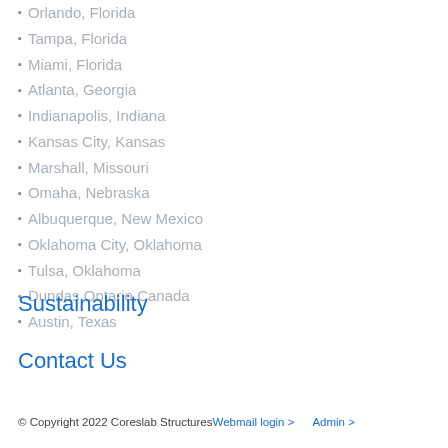Orlando, Florida
Tampa, Florida
Miami, Florida
Atlanta, Georgia
Indianapolis, Indiana
Kansas City, Kansas
Marshall, Missouri
Omaha, Nebraska
Albuquerque, New Mexico
Oklahoma City, Oklahoma
Tulsa, Oklahoma
Dundas Ontario Canada
Austin, Texas
Sustainability
Contact Us
© Copyright 2022 Coreslab Structures  Webmail login >    Admin >